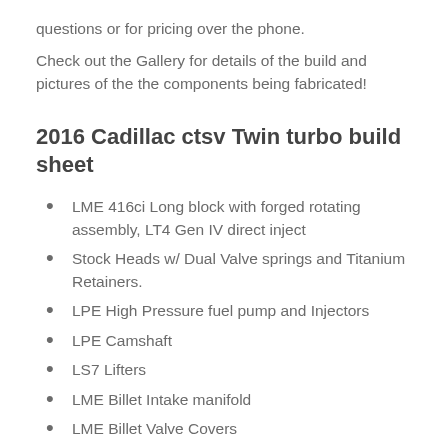questions or for pricing over the phone.
Check out the Gallery for details of the build and pictures of the the components being fabricated!
2016 Cadillac ctsv Twin turbo build sheet
LME 416ci Long block with forged rotating assembly, LT4 Gen IV direct inject
Stock Heads w/ Dual Valve springs and Titanium Retainers.
LPE High Pressure fuel pump and Injectors
LPE Camshaft
LS7 Lifters
LME Billet Intake manifold
LME Billet Valve Covers